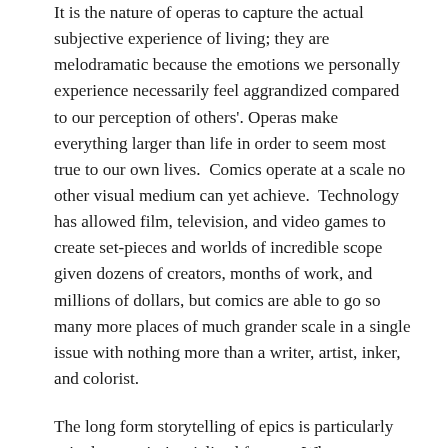It is the nature of operas to capture the actual subjective experience of living; they are melodramatic because the emotions we personally experience necessarily feel aggrandized compared to our perception of others'. Operas make everything larger than life in order to seem most true to our own lives.  Comics operate at a scale no other visual medium can yet achieve.  Technology has allowed film, television, and video games to create set-pieces and worlds of incredible scope given dozens of creators, months of work, and millions of dollars, but comics are able to go so many more places of much grander scale in a single issue with nothing more than a writer, artist, inker, and colorist.
The long form storytelling of epics is particularly suited to comics' serialized format.  Whereas cinematic universes, television series, and even episodic games are subject to aging actors and contract disputes, a comic writer has the chance to send familiar characters on incredible adventures spanning a run of fifty to a hundred issues.  It'd